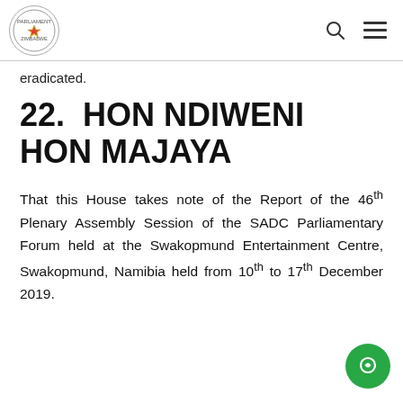Parliament of Zimbabwe logo, search icon, menu icon
eradicated.
22. HON NDIWENI HON MAJAYA
That this House takes note of the Report of the 46th Plenary Assembly Session of the SADC Parliamentary Forum held at the Swakopmund Entertainment Centre, Swakopmund, Namibia held from 10th to 17th December 2019.